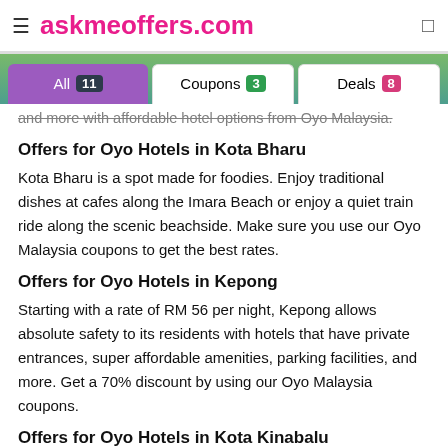askmeoffers.com
All 11 | Coupons 3 | Deals 8
and more with affordable hotel options from Oyo Malaysia.
Offers for Oyo Hotels in Kota Bharu
Kota Bharu is a spot made for foodies. Enjoy traditional dishes at cafes along the Imara Beach or enjoy a quiet train ride along the scenic beachside. Make sure you use our Oyo Malaysia coupons to get the best rates.
Offers for Oyo Hotels in Kepong
Starting with a rate of RM 56 per night, Kepong allows absolute safety to its residents with hotels that have private entrances, super affordable amenities, parking facilities, and more. Get a 70% discount by using our Oyo Malaysia coupons.
Offers for Oyo Hotels in Kota Kinabalu